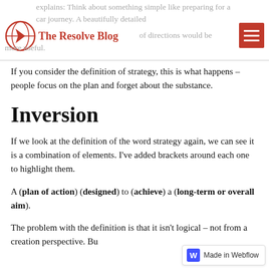explains: Think about something simple like preparing for a car journey. A beautifully detailed map lot of directions would be more useful.
[Figure (logo): The Resolve Blog logo: red circle with a stylized compass/arrow icon, and bold red text 'The Resolve Blog' beside it. Red hamburger menu icon on the right.]
If you consider the definition of strategy, this is what happens – people focus on the plan and forget about the substance.
Inversion
If we look at the definition of the word strategy again, we can see it is a combination of elements. I've added brackets around each one to highlight them.
A (plan of action) (designed) to (achieve) a (long-term or overall aim).
The problem with the definition is that it isn't logical – not from a creation perspective. Bu... definition...